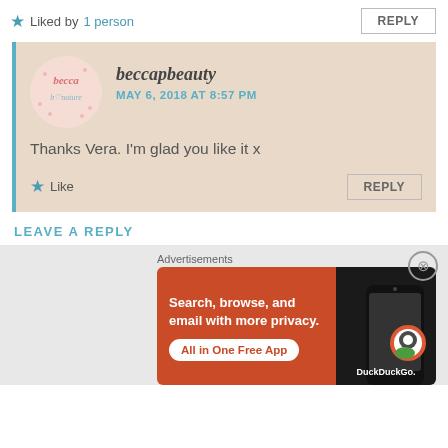Liked by 1 person
REPLY
beccapbeauty
MAY 6, 2018 AT 8:57 PM
Thanks Vera. I'm glad you like it x
Like
REPLY
LEAVE A REPLY
[Figure (screenshot): DuckDuckGo advertisement banner with orange background showing 'Search, browse, and email with more privacy. All in One Free App' with phone image and DuckDuckGo logo]